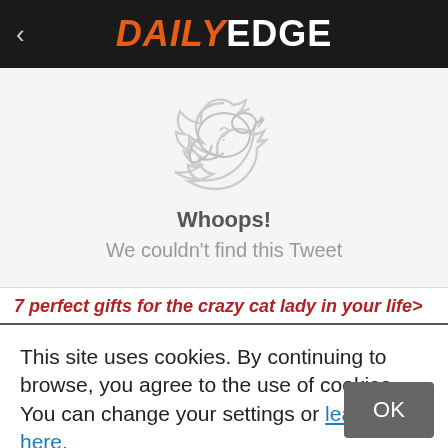DAILYEDGE
[Figure (screenshot): Twitter bird icon with question mark and error message: Whoops! We couldn't find this Tweet]
7 perfect gifts for the crazy cat lady in your life>
This site uses cookies. By continuing to browse, you agree to the use of cookies. You can change your settings or learn more here.